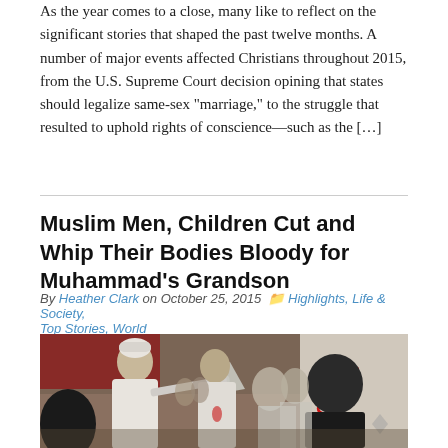As the year comes to a close, many like to reflect on the significant stories that shaped the past twelve months. A number of major events affected Christians throughout 2015, from the U.S. Supreme Court decision opining that states should legalize same-sex "marriage," to the struggle that resulted to uphold rights of conscience—such as the […]
Muslim Men, Children Cut and Whip Their Bodies Bloody for Muhammad's Grandson
By Heather Clark on October 25, 2015  Highlights, Life & Society, Top Stories, World
[Figure (photo): Crowd of men in white robes in an outdoor setting, one holding a blade, gathered in a ceremonial procession]